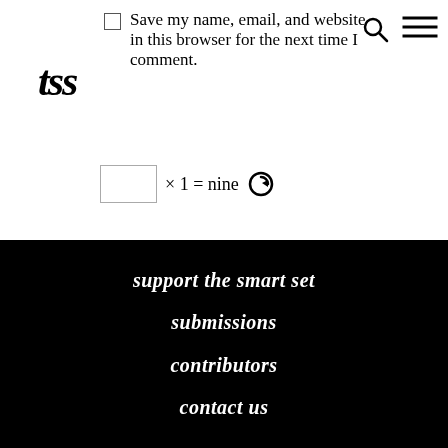[Figure (logo): TSS logo in bold italic serif font]
Save my name, email, and website in this browser for the next time I comment.
× 1 = nine (captcha input field with refresh icon)
post comment
support the smart set
submissions
contributors
contact us